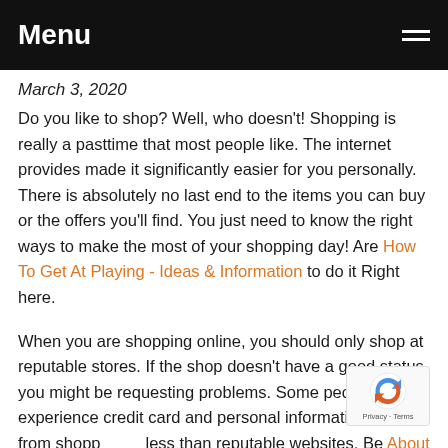Menu
March 3, 2020
Do you like to shop? Well, who doesn't! Shopping is really a pasttime that most people like. The internet provides made it significantly easier for you personally. There is absolutely no last end to the items you can buy or the offers you'll find. You just need to know the right ways to make the most of your shopping day! Are How To Get At Playing - Ideas & Information to do it Right here.
When you are shopping online, you should only shop at reputable stores. If the shop doesn't have a good status, you might be requesting problems. Some people experience credit card and personal information stolen from shopping less than reputable websites. Be About Casino Tips, Casino